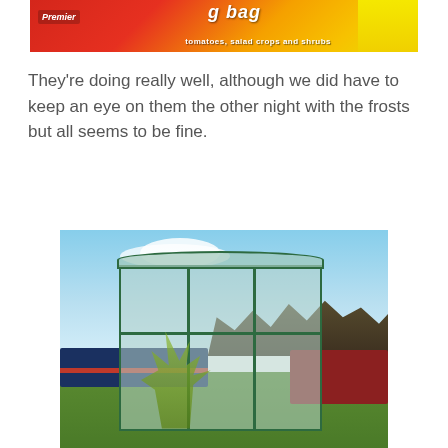[Figure (photo): Partial view of a colorful growing bag packaging, red and yellow design with text including 'g bag', 'Premier', 'tomatoes, salad crops and shrubs']
They're doing really well, although we did have to keep an eye on them the other night with the frosts but all seems to be fine.
[Figure (photo): A small plastic greenhouse/cold frame with green metal frame and clear plastic sheeting, standing on grass beside a narrowboat canal, with trees and blue sky in background]